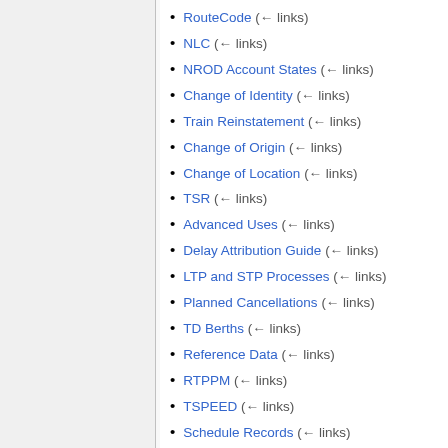RouteCode  (← links)
NLC  (← links)
NROD Account States  (← links)
Change of Identity  (← links)
Train Reinstatement  (← links)
Change of Origin  (← links)
Change of Location  (← links)
TSR  (← links)
Advanced Uses  (← links)
Delay Attribution Guide  (← links)
LTP and STP Processes  (← links)
Planned Cancellations  (← links)
TD Berths  (← links)
Reference Data  (← links)
RTPPM  (← links)
TSPEED  (← links)
Schedule Records  (← links)
CIF Codes  (← links)
STANOX Areas  (← links)